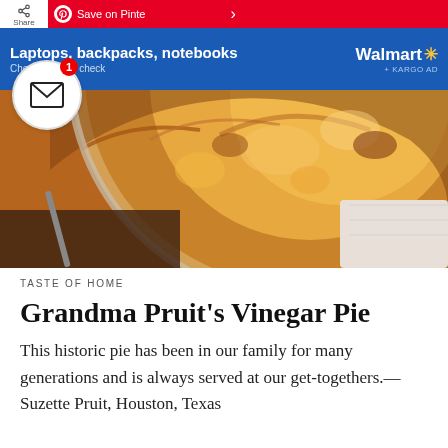[Figure (screenshot): Top navigation bar with Share button, Pinterest 'Save on Pinte...' banner in red, and a Walmart ad banner in blue reading 'Laptops, backpacks, notebooks / Check, check, check' with Walmart logo and KARGO AD label]
[Figure (photo): Close-up photograph of a golden-brown baked pie in a pie dish, showing flaky pastry crust, viewed from above at an angle]
TASTE OF HOME
Grandma Pruit's Vinegar Pie
This historic pie has been in our family for many years and is always served at our get-togethers.—Suzette Pruit, Houston, Texas